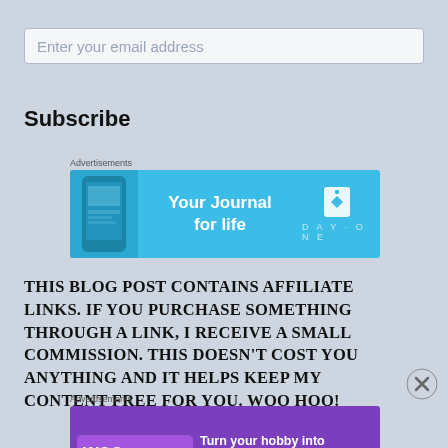Enter your email address
Subscribe
Advertisements
[Figure (other): Day One app advertisement banner: blue background with phone image on left, text 'Your Journal for life' in center, Day One logo on right]
THIS BLOG POST CONTAINS AFFILIATE LINKS. IF YOU PURCHASE SOMETHING THROUGH A LINK, I RECEIVE A SMALL COMMISSION. THIS DOESN'T COST YOU ANYTHING AND IT HELPS KEEP MY CONTENT FREE FOR YOU. WOO HOO!
Advertisements
[Figure (other): WooCommerce advertisement banner: purple background with WooCommerce logo on left and text 'Turn your hobby into a business in 8 steps' on right with teal and orange decorative shapes]